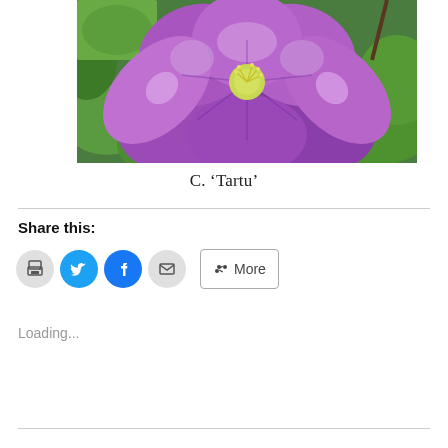[Figure (photo): Close-up photograph of a large purple Clematis 'Tartu' flower with ruffled petals, yellow-green center stamens, and green leaves in the background.]
C. ‘Tartu’
Share this:
[Figure (infographic): Row of social share buttons: print (grey circle with printer icon), Twitter (blue circle with bird icon), Facebook (blue circle with f icon), Email (grey circle with envelope icon), and a More button with share icon.]
Loading...